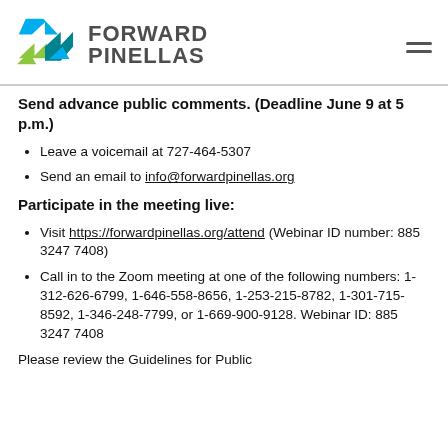[Figure (logo): Forward Pinellas logo with colorful arrow/chevron shapes in green and blue, next to bold text reading FORWARD PINELLAS]
Send advance public comments. (Deadline June 9 at 5 p.m.)
Leave a voicemail at 727-464-5307
Send an email to info@forwardpinellas.org
Participate in the meeting live:
Visit https://forwardpinellas.org/attend (Webinar ID number: 885 3247 7408)
Call in to the Zoom meeting at one of the following numbers: 1-312-626-6799, 1-646-558-8656, 1-253-215-8782, 1-301-715-8592, 1-346-248-7799, or 1-669-900-9128. Webinar ID: 885 3247 7408
Please review the Guidelines for Public